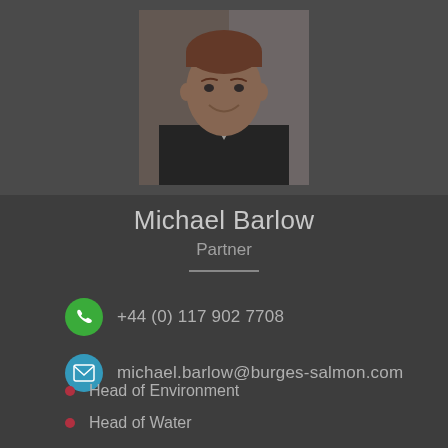[Figure (photo): Professional headshot of Michael Barlow, a man with short reddish-brown hair wearing a dark suit, smiling, against a light background]
Michael Barlow
Partner
+44 (0) 117 902 7708
michael.barlow@burges-salmon.com
Head of Environment
Head of Water
Environmental, Social and